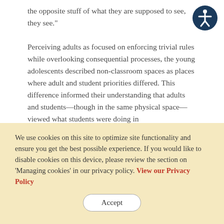the opposite stuff of what they are supposed to see, they see."

Perceiving adults as focused on enforcing trivial rules while overlooking consequential processes, the young adolescents described non-classroom spaces as places where adult and student priorities differed. This difference informed their understanding that adults and students—though in the same physical space—viewed what students were doing in
[Figure (illustration): Accessibility icon: circular dark blue button with a white stick figure person with arms outstretched]
We use cookies on this site to optimize site functionality and ensure you get the best possible experience. If you would like to disable cookies on this device, please review the section on 'Managing cookies' in our privacy policy. View our Privacy Policy
Accept